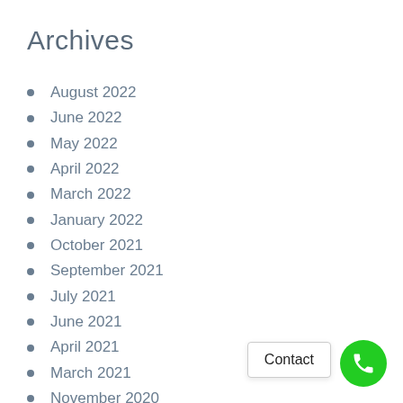Archives
August 2022
June 2022
May 2022
April 2022
March 2022
January 2022
October 2021
September 2021
July 2021
June 2021
April 2021
March 2021
November 2020
September 2020
August 2020
July 2020